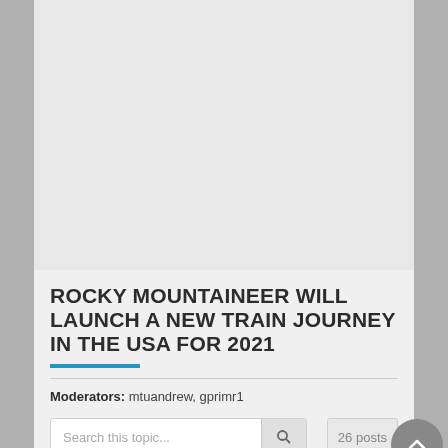[Figure (photo): Large light gray placeholder image area at the top of the page card]
ROCKY MOUNTAINEER WILL LAUNCH A NEW TRAIN JOURNEY IN THE USA FOR 2021
Moderators: mtuandrew, gprimr1
Search this topic...    26 posts